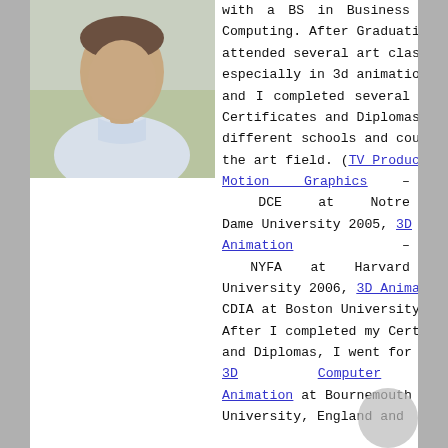[Figure (photo): Portrait photo of a man in a light blue shirt, cropped at upper body, outdoor background]
with a BS in Business Computing. After Graduation I attended several art classes, especially in 3d animation, and I completed several Certificates and Diplomas from different schools and countries in the art field. (TV Production and Motion Graphics – DCE at Notre Dame University 2005, 3D Animation – NYFA at Harvard University 2006, 3D Animation – CDIA at Boston University 2007). After I completed my Certificates and Diplomas, I went for my MA in 3D Computer Animation at Bournemouth University, England and